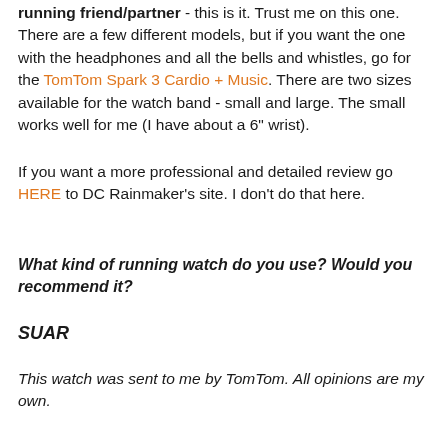running friend/partner - this is it. Trust me on this one. There are a few different models, but if you want the one with the headphones and all the bells and whistles, go for the TomTom Spark 3 Cardio + Music. There are two sizes available for the watch band - small and large. The small works well for me (I have about a 6" wrist).
If you want a more professional and detailed review go HERE to DC Rainmaker's site. I don't do that here.
What kind of running watch do you use? Would you recommend it?
SUAR
This watch was sent to me by TomTom. All opinions are my own.